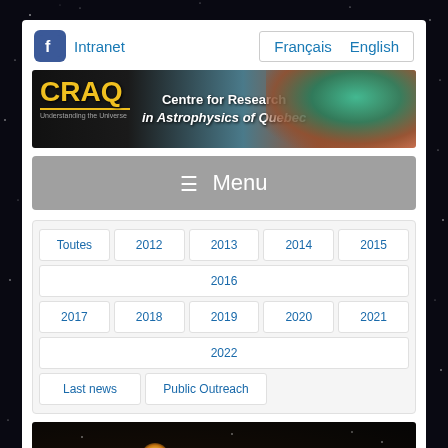f Intranet   Français   English
[Figure (illustration): CRAQ banner with logo text 'CRAQ Understanding the Universe' and 'Centre for Research in Astrophysics of Quebec' over a nebula/galaxy background image]
☰ Menu
Toutes
2012
2013
2014
2015
2016
2017
2018
2019
2020
2021
2022
Last news
Public Outreach
[Figure (photo): Dark astronomical image showing stars against a black background with a bright yellow-orange star or planet visible]